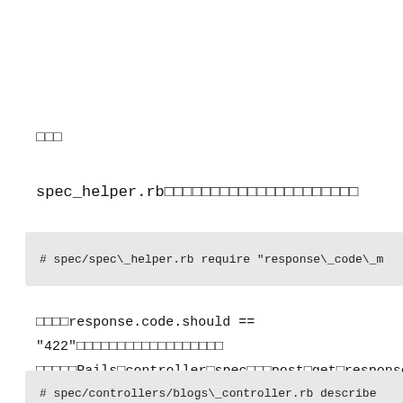□□□
spec_helper.rb□□□□□□□□□□□□□□□□□□□□□
[Figure (screenshot): Code block: # spec/spec\_helper.rb require "response\_code\_m]
□□□□response.code.should == "422"□□□□□□□□□□□□□□□□□□□□□□□Rails□controller□spec□□□post□get□response□□□□□□□□□□□□□□□subject□post□get□□□□□□□□□□□□□□□□□□□□□□□
[Figure (screenshot): Code block: # spec/controllers/blogs\_controller.rb describe]